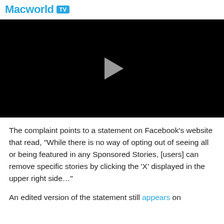Macworld TV
[Figure (screenshot): Black video player with a gray play button triangle in the center]
The complaint points to a statement on Facebook's website that read, “While there is no way of opting out of seeing all or being featured in any Sponsored Stories, [users] can remove specific stories by clicking the ‘X’ displayed in the upper right side…”
An edited version of the statement still appears on